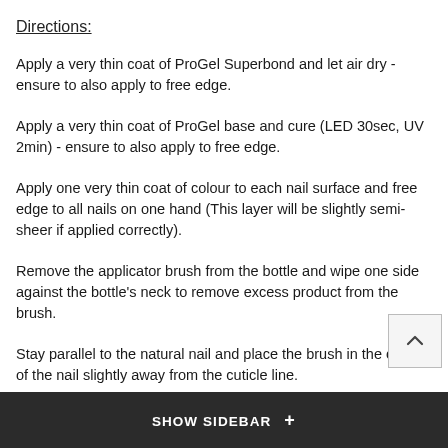Directions:
Apply a very thin coat of ProGel Superbond and let air dry - ensure to also apply to free edge.
Apply a very thin coat of ProGel base and cure (LED 30sec, UV 2min) - ensure to also apply to free edge.
Apply one very thin coat of colour to each nail surface and free edge to all nails on one hand (This layer will be slightly semi-sheer if applied correctly).
Remove the applicator brush from the bottle and wipe one side against the bottle's neck to remove excess product from the brush.
Stay parallel to the natural nail and place the brush in the centre of the nail slightly away from the cuticle line.
Apply polish in the centre of the nail from cuticle to tip of nail, making sure to keep polish off the cuticle. If polish does touch the cuticle, remove prior to
SHOW SIDEBAR +